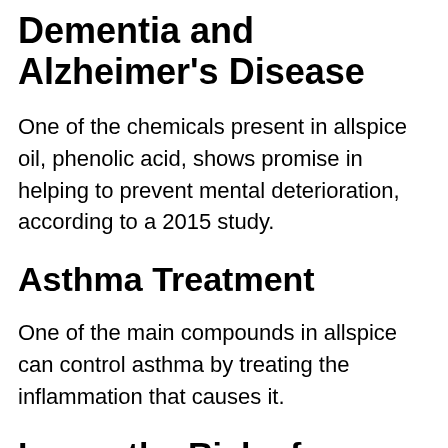Dementia and Alzheimer's Disease
One of the chemicals present in allspice oil, phenolic acid, shows promise in helping to prevent mental deterioration, according to a 2015 study.
Asthma Treatment
One of the main compounds in allspice can control asthma by treating the inflammation that causes it.
Lower the Risk of Diabetes